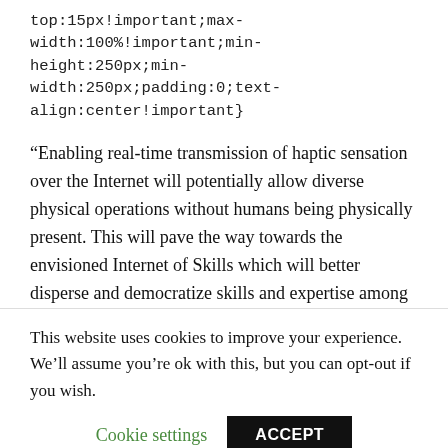top:15px!important;max-width:100%!important;min-height:250px;min-width:250px;padding:0;text-align:center!important}
“Enabling real-time transmission of haptic sensation over the Internet will potentially allow diverse physical operations without humans being physically present. This will pave the way towards the envisioned Internet of Skills which will better disperse and democratize skills and expertise among people, regardless of gender, age, and other diversities. This can reduce the amount of travel and associated CO2 emission. However, the
This website uses cookies to improve your experience. We’ll assume you’re ok with this, but you can opt-out if you wish.
Cookie settings   ACCEPT